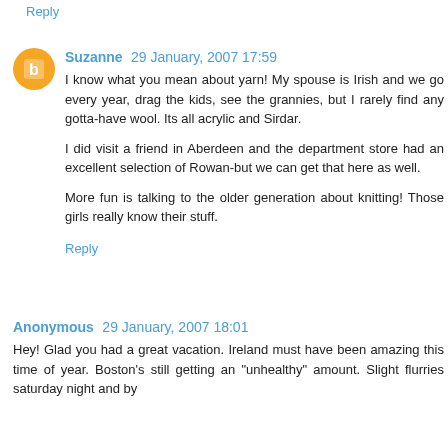Reply
Suzanne 29 January, 2007 17:59
I know what you mean about yarn! My spouse is Irish and we go every year, drag the kids, see the grannies, but I rarely find any gotta-have wool. Its all acrylic and Sirdar.

I did visit a friend in Aberdeen and the department store had an excellent selection of Rowan-but we can get that here as well.

More fun is talking to the older generation about knitting! Those girls really know their stuff.
Reply
Anonymous 29 January, 2007 18:01
Hey! Glad you had a great vacation. Ireland must have been amazing this time of year. Boston's still getting an "unhealthy" amount. Slight flurries saturday night and by